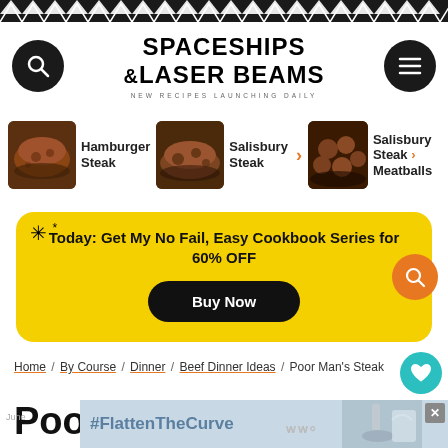SPACESHIPS & LASER BEAMS — NEW RECIPES LAUNCHING DAILY
[Figure (photo): Navigation row with three food images: Hamburger Steak, Salisbury Steak, Salisbury Steak Meatballs]
Today: Get My No Fail, Easy Cookbook Series for 60% OFF
Buy Now
Home / By Course / Dinner / Beef Dinner Ideas / Poor Man's Steak
216K
Poor Man's Steak
[Figure (screenshot): Advertisement banner with #FlattenTheCurve text and hand washing image]